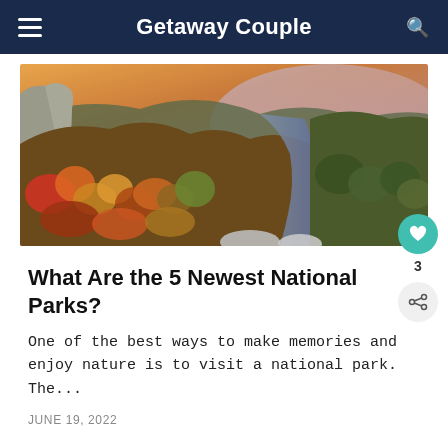Getaway Couple
[Figure (photo): Aerial view of a forested river gorge in autumn with colorful fall foliage and a winding river below, rocky cliffs on the left side, taken at golden hour.]
What Are the 5 Newest National Parks?
One of the best ways to make memories and enjoy nature is to visit a national park. The...
JUNE 19, 2022